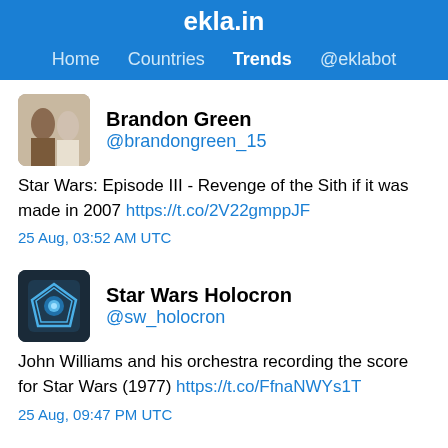ekla.in
Home  Countries  Trends  @eklabot
Brandon Green @brandongreen_15
Star Wars: Episode III - Revenge of the Sith if it was made in 2007 https://t.co/2V22gmppJF
25 Aug, 03:52 AM UTC
Star Wars Holocron @sw_holocron
John Williams and his orchestra recording the score for Star Wars (1977) https://t.co/FfnaNWYs1T
25 Aug, 09:47 PM UTC